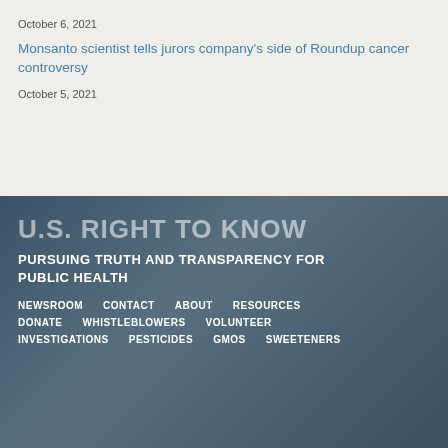October 6, 2021
Monsanto scientist tells jurors company's side of Roundup cancer controversy
October 5, 2021
U.S. RIGHT TO KNOW
PURSUING TRUTH AND TRANSPARENCY FOR PUBLIC HEALTH
NEWSROOM
CONTACT
ABOUT
RESOURCES
DONATE
WHISTLEBLOWERS
VOLUNTEER
INVESTIGATIONS
PESTICIDES
GMOS
SWEETENERS